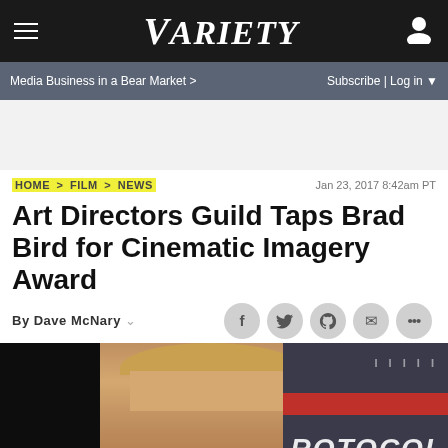VARIETY
Media Business in a Bear Market > | Subscribe | Log in
HOME > FILM > NEWS   Jan 23, 2017 8:42am PT
Art Directors Guild Taps Brad Bird for Cinematic Imagery Award
By Dave McNary
[Figure (photo): Headshot photo of Brad Bird at what appears to be a Mission: Impossible Ghost Protocol premiere or event, with the word PROTOCOL visible in the background]